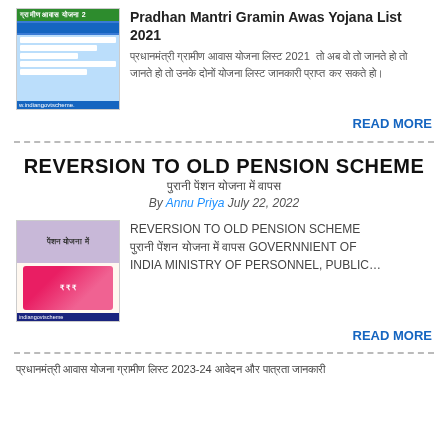[Figure (screenshot): Thumbnail image of Pradhan Mantri Gramin Awas Yojana website with green header bar and blue accents]
Pradhan Mantri Gramin Awas Yojana List 2021
प्रधानमंत्री ग्रामीण आवास योजना लिस्ट 2021  तो अब वो तो जानते हो तो उनके दोनों योजना लिस्ट जानकारी प्राप्त कर सकते हो।
READ MORE
REVERSION TO OLD PENSION SCHEME
पुरानी पेंशन योजना में वापस
By Annu Priya July 22, 2022
[Figure (photo): Thumbnail image showing pension yojana with Indian currency notes and text indiangovtscheme]
REVERSION TO OLD PENSION SCHEME पुरानी पेंशन योजना में वापस GOVERNNIENT OF INDIA MINISTRY OF PERSONNEL, PUBLIC…
READ MORE
प्रधानमंत्री आवास योजना ग्रामीण लिस्ट 2023-24 आवेदन और पात्रता जानकारी